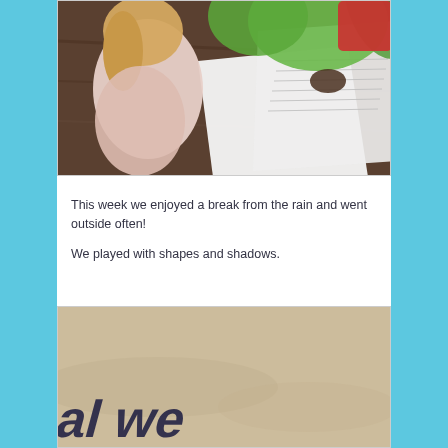[Figure (photo): Aerial view of a child with blonde hair looking down at papers and a colorful book on a dark wood table. Another child in red is partially visible.]
This week we enjoyed a break from the rain and went outside often!
We played with shapes and shadows.
[Figure (photo): Ground-level photo showing shadow shapes (letters or figures) cast on a sandy/concrete surface outdoors.]